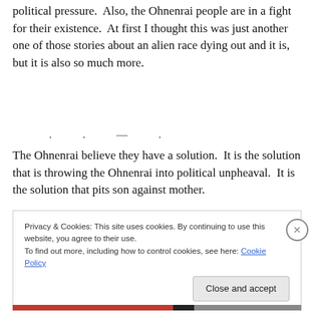political pressure.  Also, the Ohnenrai people are in a fight for their existence.  At first I thought this was just another one of those stories about an alien race dying out and it is, but it is also so much more.
The Ohnenrai believe they have a solution.  It is the solution that is throwing the Ohnenrai into political unpheaval.  It is the solution that pits son against mother.
Privacy & Cookies: This site uses cookies. By continuing to use this website, you agree to their use.
To find out more, including how to control cookies, see here: Cookie Policy

Close and accept